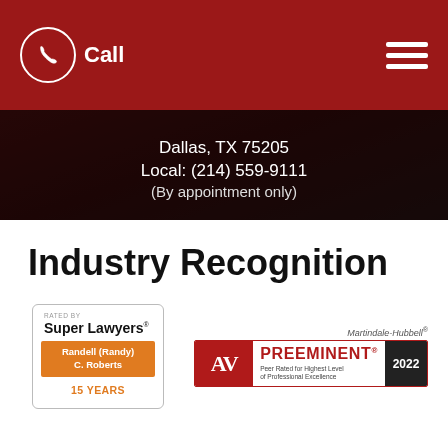Call
Dallas, TX 75205
Local: (214) 559-9111
(By appointment only)
Industry Recognition
[Figure (logo): Super Lawyers badge: Rated By Super Lawyers, Randell (Randy) C. Roberts, 15 Years]
[Figure (logo): Martindale-Hubbell AV Preeminent badge: Peer Rated for Highest Level of Professional Excellence, 2022]